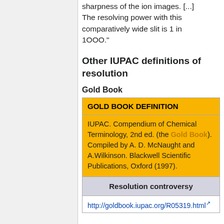sharpness of the ion images. [...] The resolving power with this comparatively wide slit is 1 in 1OOO."
Other IUPAC definitions of resolution
Gold Book
| GOLD BOOK DEFINITION |
| IUPAC. Compendium of Chemical Terminology, 2nd ed. (the Gold Book). Compiled by A. D. McNaught and A.Wilkinson. Blackwell Scientific Publications, Oxford (1997). |
| Resolution controversy |
| http://goldbook.iupac.org/R05319.html |